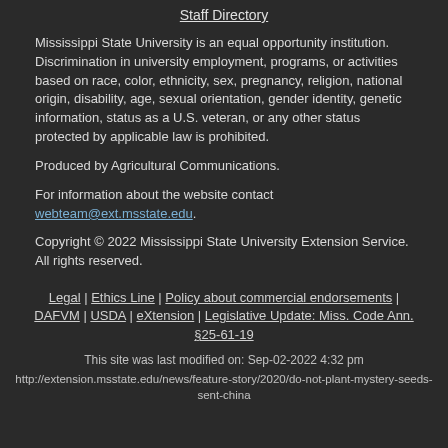Staff Directory
Mississippi State University is an equal opportunity institution. Discrimination in university employment, programs, or activities based on race, color, ethnicity, sex, pregnancy, religion, national origin, disability, age, sexual orientation, gender identity, genetic information, status as a U.S. veteran, or any other status protected by applicable law is prohibited.
Produced by Agricultural Communications.
For information about the website contact webteam@ext.msstate.edu.
Copyright © 2022 Mississippi State University Extension Service. All rights reserved.
Legal | Ethics Line | Policy about commercial endorsements | DAFVM | USDA | eXtension | Legislative Update: Miss. Code Ann. §25-61-19
This site was last modified on: Sep-02-2022 4:32 pm
http://extension.msstate.edu/news/feature-story/2020/do-not-plant-mystery-seeds-sent-china